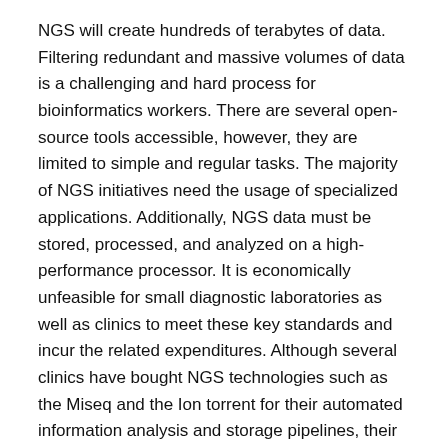NGS will create hundreds of terabytes of data. Filtering redundant and massive volumes of data is a challenging and hard process for bioinformatics workers. There are several open-source tools accessible, however, they are limited to simple and regular tasks. The majority of NGS initiatives need the usage of specialized applications. Additionally, NGS data must be stored, processed, and analyzed on a high-performance processor. It is economically unfeasible for small diagnostic laboratories as well as clinics to meet these key standards and incur the related expenditures. Although several clinics have bought NGS technologies such as the Miseq and the Ion torrent for their automated information analysis and storage pipelines, their low throughput limits their applicability.
Analysis of data on variability
The analyses are well-recognized to associate of data...